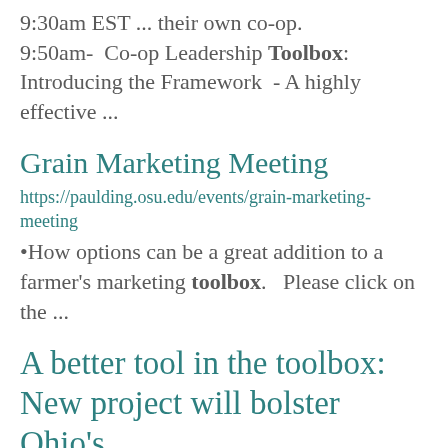9:30am EST ... their own co-op. 9:50am- Co-op Leadership Toolbox: Introducing the Framework - A highly effective ...
Grain Marketing Meeting
https://paulding.osu.edu/events/grain-marketing-meeting
How options can be a great addition to a farmer's marketing toolbox. Please click on the ...
A better tool in the toolbox: New project will bolster Ohio's Phosphorus Risk Index